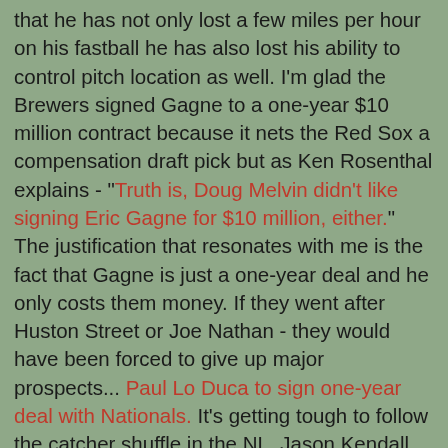that he has not only lost a few miles per hour on his fastball he has also lost his ability to control pitch location as well. I'm glad the Brewers signed Gagne to a one-year $10 million contract because it nets the Red Sox a compensation draft pick but as Ken Rosenthal explains - "Truth is, Doug Melvin didn't like signing Eric Gagne for $10 million, either." The justification that resonates with me is the fact that Gagne is just a one-year deal and he only costs them money. If they went after Huston Street or Joe Nathan - they would have been forced to give up major prospects... Paul Lo Duca to sign one-year deal with Nationals. It's getting tough to follow the catcher shuffle in the NL. Jason Kendall was the starter for the Cubs but now he's taken Johnny Estrada's job in Milwaukee. Estrada took Lo Duca's job with the Mets until the Mets traded for Brian Schnieder of the Nationals and now Lo Duca (formerly of the Mets) has taken Schnieder's old job with the Nationals. Got that?... Red Sox fans are rejoicing over the announcement that the Yankees have signed LaTroy Hawkins to a one-year deal. If I ran a casino - I'd have a prop bet asking which Red Sox player would be the first to hit a late inning HR off Hawkins that brings the Red Sox from behind to help win the game. Hs momma would be LaTroy's pick for the above assignment.